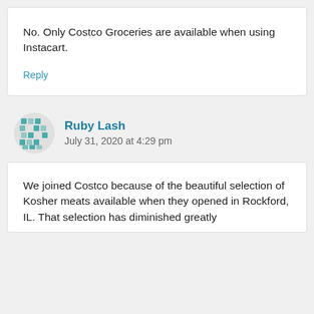No. Only Costco Groceries are available when using Instacart.
Reply
Ruby Lash
July 31, 2020 at 4:29 pm
We joined Costco because of the beautiful selection of Kosher meats available when they opened in Rockford, IL. That selection has diminished greatly